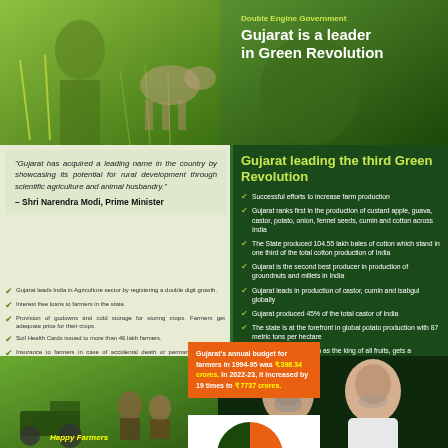Double Engine Government — Gujarat is a leader in Green Revolution
"Gujarat has acquired a leading name in the country by showcasing its potential for rural development through scientific agriculture and animal husbandry." – Shri Narendra Modi, Prime Minister
Gujarat leads India in Agriculture sector by registering a double digit growth.
Interest free loans to farmers in the state.
Provision of godowns and cold storage for storing crops. Farmers get adequate price for their crops.
Soil Health Cards issued to more than 46 lakh farmers.
Insurance to farmers in case of accidental death or permanent disability. Assistance of ₹1 lakh in case of accidental death and ₹50,000 in case of permanent disability. Government to pay 100% premium on behalf of the farmer.
Establishment of India's 1st animal hostel in Gujarat. Revolutionary initiative in the field of animal husbandry.
Gujarat's annual budget for farmers in 1994-95 was ₹.398.34 crores. In 2022-23, it increased by 19 times to ₹ 7737 crores.
[Figure (pie-chart): Gujarat annual budget for farmers]
Gujarat leading the third Green Revolution
Successful efforts to increase farm production
Gujarat ranks first in the production of custard apple, guava, castor, potato, onion, fennel seeds, cumin and cotton across India
The State produced 104.55 lakh bales of cotton which stand in one third of the total cotton production of India
Gujarat is the second best producer in production of groundnuts and millets in India
Gujarat leads in production of castor, cumin and isabgul globally
Gujarat produced 45% of the total castor of India
The state is at the forefront in global potato production with 87 metric tons per hectare
Kesar Mangoes known as the king of all fruits, gets a production of 7 metric tons of per hectare and it is the first in the state to receive the G.I. tag
A record production of high quality kutchhi dates at 1.23 lakh metric ton per hectare
Happy Farmers